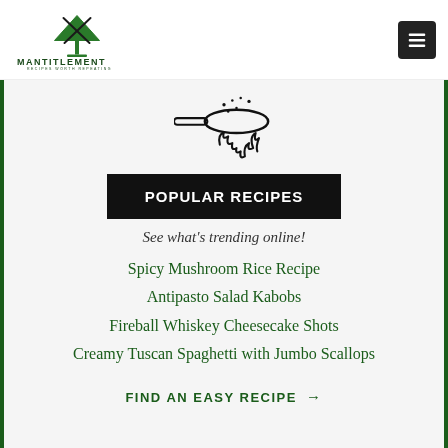[Figure (logo): Mantitlement logo: green martini glass with crossed fork and spoon, text MANTITLEMENT RECIPES WORTH REPEATING]
[Figure (illustration): Illustration of a frying pan with flames underneath and steam/food above, in black line art style]
POPULAR RECIPES
See what's trending online!
Spicy Mushroom Rice Recipe
Antipasto Salad Kabobs
Fireball Whiskey Cheesecake Shots
Creamy Tuscan Spaghetti with Jumbo Scallops
FIND AN EASY RECIPE →